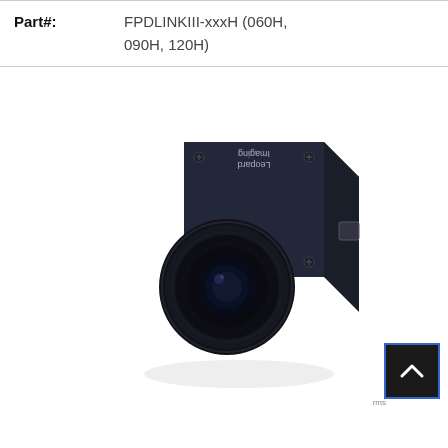Part#: FPDLINKIII-xxxH (060H, 090H, 120H)
[Figure (photo): A compact square industrial camera module with a wide-angle fisheye lens, dark navy/black housing, with 'Leopard Imaging' text visible on top (appearing upside down in photo). The camera is shown from a front-left angle with visible mounting screws on corners.]